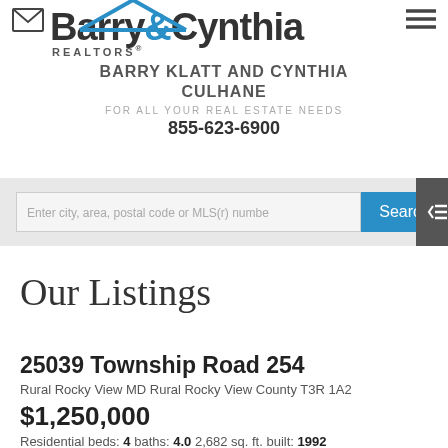[Figure (logo): Barry & Cynthia Realtors logo with house outline, envelope icon, and hamburger menu icon]
BARRY KLATT AND CYNTHIA CULHANE
FOR ALL YOUR REAL ESTATE NEEDS
855-623-6900
Enter city, area, postal code or MLS(r) numbe
Our Listings
25039 Township Road 254
Rural Rocky View MD Rural Rocky View County T3R 1A2
$1,250,000
Residential beds: 4 baths: 4.0 2,682 sq. ft. built: 1992